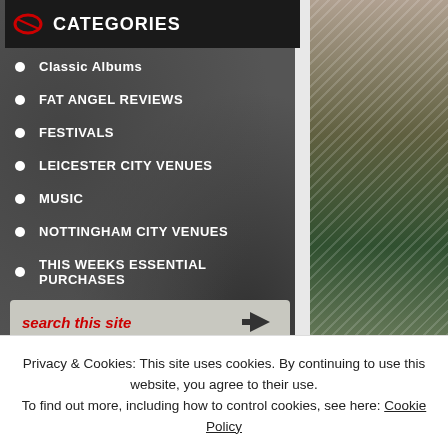CATEGORIES
Classic Albums
FAT ANGEL REVIEWS
FESTIVALS
LEICESTER CITY VENUES
MUSIC
NOTTINGHAM CITY VENUES
THIS WEEKS ESSENTIAL PURCHASES
WE LOVE
search this site
META
Privacy & Cookies: This site uses cookies. By continuing to use this website, you agree to their use. To find out more, including how to control cookies, see here: Cookie Policy
Close and accept